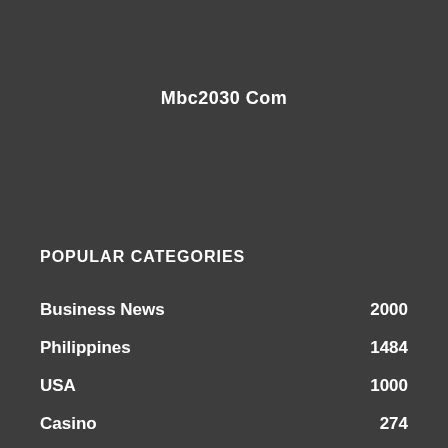Mbc2030 Com
POPULAR CATEGORIES
Business News   2000
Philippines   1484
USA   1000
Casino   274